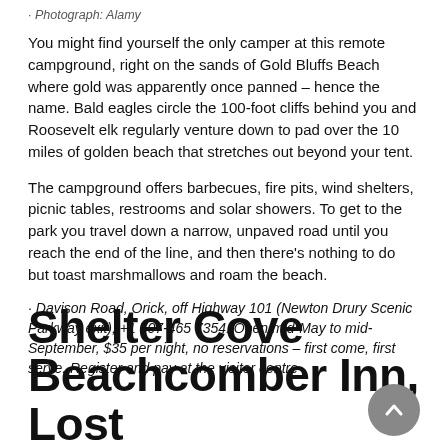· Photograph: Alamy
You might find yourself the only camper at this remote campground, right on the sands of Gold Bluffs Beach where gold was apparently once panned – hence the name. Bald eagles circle the 100-foot cliffs behind you and Roosevelt elk regularly venture down to pad over the 10 miles of golden beach that stretches out beyond your tent.
The campground offers barbecues, fire pits, wind shelters, picnic tables, restrooms and solar showers. To get to the park you travel down a narrow, unpaved road until you reach the end of the line, and then there's nothing to do but toast marshmallows and roam the beach.
· Davison Road, Orick, off Highway 101 (Newton Drury Scenic Parkway exit), +1 707-465 7354. Open mid-May to mid-September, $35 per night, no reservations – first come, first serve. Register and pay at the visitor centre
Shelter Cove Beachcomber Inn, Lost